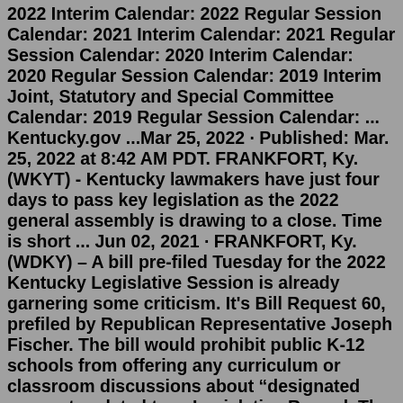2022 Interim Calendar: 2022 Regular Session Calendar: 2021 Interim Calendar: 2021 Regular Session Calendar: 2020 Interim Calendar: 2020 Regular Session Calendar: 2019 Interim Joint, Statutory and Special Committee Calendar: 2019 Regular Session Calendar: ... Kentucky.gov ...Mar 25, 2022 · Published: Mar. 25, 2022 at 8:42 AM PDT. FRANKFORT, Ky. (WKYT) - Kentucky lawmakers have just four days to pass key legislation as the 2022 general assembly is drawing to a close. Time is short ... Jun 02, 2021 · FRANKFORT, Ky. (WDKY) – A bill pre-filed Tuesday for the 2022 Kentucky Legislative Session is already garnering some criticism. It's Bill Request 60, prefiled by Republican Representative Joseph Fischer. The bill would prohibit public K-12 schools from offering any curriculum or classroom discussions about "designated concepts related to ... Legislative Record. The Legislative Record is a cumulative document compiled by the Legislative Research Commission after each legislative day for daily publication and posting on the Commission's